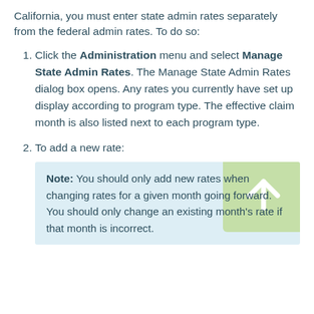California, you must enter state admin rates separately from the federal admin rates. To do so:
Click the Administration menu and select Manage State Admin Rates. The Manage State Admin Rates dialog box opens. Any rates you currently have set up display according to program type. The effective claim month is also listed next to each program type.
To add a new rate:
Note: You should only add new rates when changing rates for a given month going forward. You should only change an existing month's rate if that month is incorrect.